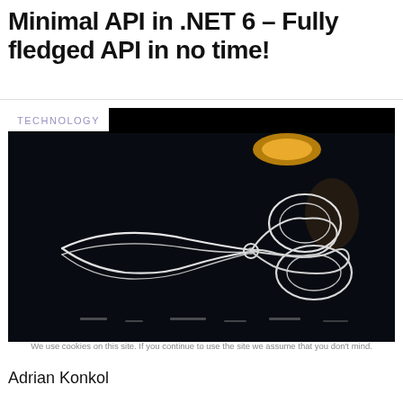Minimal API in .NET 6 – Fully fledged API in no time!
[Figure (photo): Dark background photo of a neon/wire sculpture of scissors glowing white against a black background, with a warm overhead light visible at top. A 'TECHNOLOGY' label overlaps the top-left corner of the image.]
We use cookies on this site. If you continue to use the site we assume that you don't mind.
Adrian Konkol